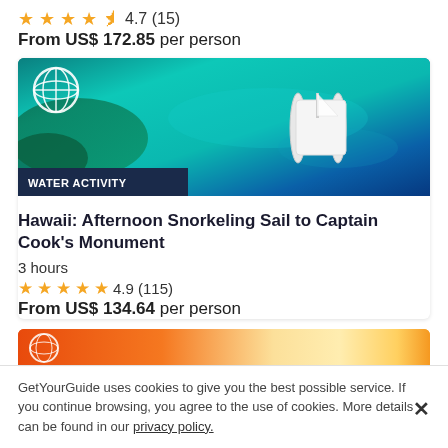4.7 (15)
From US$ 172.85 per person
[Figure (photo): Aerial view of a white catamaran sailing on turquoise blue water with coral reef visible, with a globe icon in top-left and 'WATER ACTIVITY' badge at bottom-left]
Hawaii: Afternoon Snorkeling Sail to Captain Cook's Monument
3 hours
4.9 (115)
From US$ 134.64 per person
[Figure (photo): Partial view of another activity card with orange/red gradient background]
GetYourGuide uses cookies to give you the best possible service. If you continue browsing, you agree to the use of cookies. More details can be found in our privacy policy.